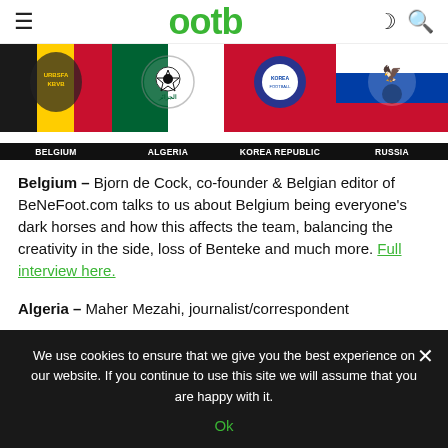ootb
[Figure (illustration): Four national football team badges in a row with country names below: Belgium (black/yellow/red flag background with KBVB crest), Algeria (green/white flag with Algerian FA crest), Korea Republic (blue/red/white with KFA crest), Russia (white/blue/red with Russian FA crest). Each cell has a black label bar at the bottom with the country name in white bold uppercase text.]
Belgium – Bjorn de Cock, co-founder & Belgian editor of BeNeFoot.com talks to us about Belgium being everyone's dark horses and how this affects the team, balancing the creativity in the side, loss of Benteke and much more. Full interview here.
Algeria – Maher Mezahi, journalist/correspondent
We use cookies to ensure that we give you the best experience on our website. If you continue to use this site we will assume that you are happy with it. Ok